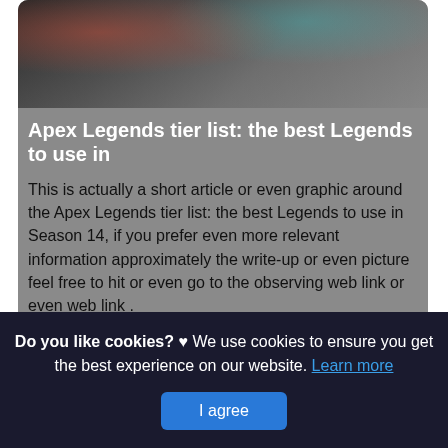[Figure (photo): Gaming scene photo showing a person playing a game, with colorful equipment visible]
Apex Legends tier list: the best Legends to use in
This is actually a short article or even graphic around the Apex Legends tier list: the best Legends to use in Season 14, if you prefer even more relevant information approximately the write-up or even picture feel free to hit or even go to the observing web link or even web link .
(Read More)
Source: www.pcgamesn.com Visit Web
Do you like cookies? ♥ We use cookies to ensure you get the best experience on our website. Learn more
I agree